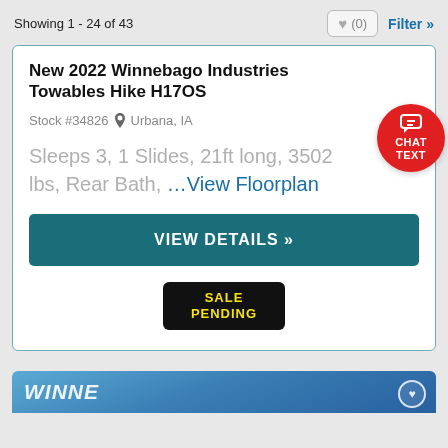Showing 1 - 24 of 43
New 2022 Winnebago Industries Towables Hike H17OS
Stock #34826  Urbana, IA
Sleeps 3, 1 Slides, 21ft long, 3502 lbs, Rear Bath, …View Floorplan
VIEW DETAILS »
SALE PENDING
[Figure (screenshot): Bottom of next listing card showing partial image of a Winnebago vehicle against blue sky with a heart/favorite icon]